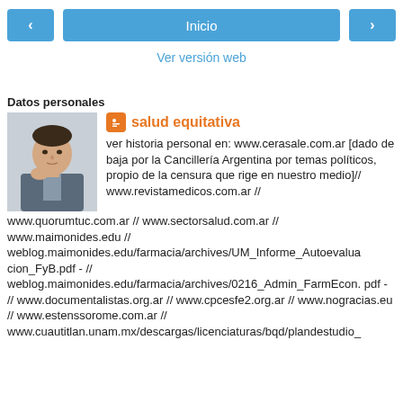< Inicio >
Ver versión web
Datos personales
[Figure (photo): Profile photo of a man in a suit, chin resting on hand]
salud equitativa
ver historia personal en: www.cerasale.com.ar [dado de baja por la Cancillería Argentina por temas políticos, propio de la censura que rige en nuestro medio]// www.revistamedicos.com.ar // www.quorumtuc.com.ar // www.sectorsalud.com.ar // www.maimonides.edu // weblog.maimonides.edu/farmacia/archives/UM_Informe_Autoevaluacion_FyB.pdf - // weblog.maimonides.edu/farmacia/archives/0216_Admin_FarmEcon.pdf - // www.documentalistas.org.ar // www.cpcesfe2.org.ar // www.nogracias.eu // www.estenssorome.com.ar // www.cuautitlan.unam.mx/descargas/licenciaturas/bqd/plandestudio_